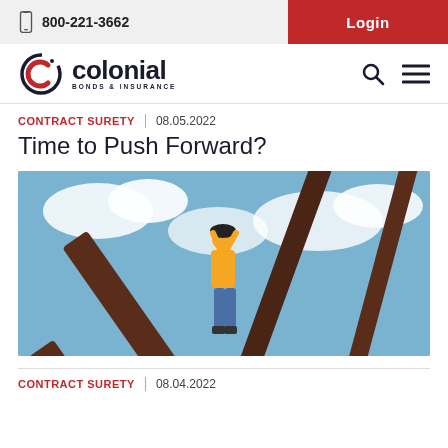800-221-3662 | Login
[Figure (logo): Colonial Bonds & Insurance logo with stylized C icon in black and red]
CONTRACT SURETY | 08.05.2022
Time to Push Forward?
[Figure (photo): Construction worker in orange safety vest and hard hat standing on steel beam framework against a cloudy blue sky]
CONTRACT SURETY | 08.04.2022